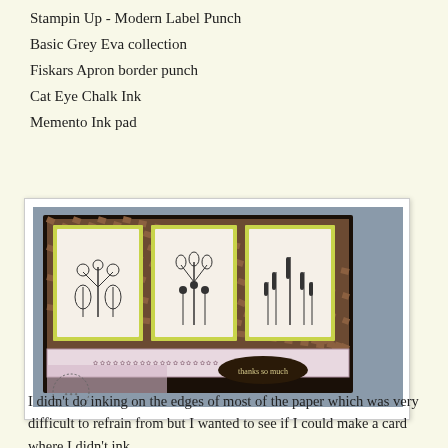Stampin Up - Modern Label Punch
Basic Grey Eva collection
Fiskars Apron border punch
Cat Eye Chalk Ink
Memento Ink pad
[Figure (photo): A handmade greeting card featuring three botanical stamp panels with lime green mats on dark brown/patterned background, with a 'thanks so much' sentiment label and decorative patterned paper strip at the bottom.]
I didn't do inking on the edges of most of the paper which was very difficult to refrain from but I wanted to see if I could make a card where I didn't ink